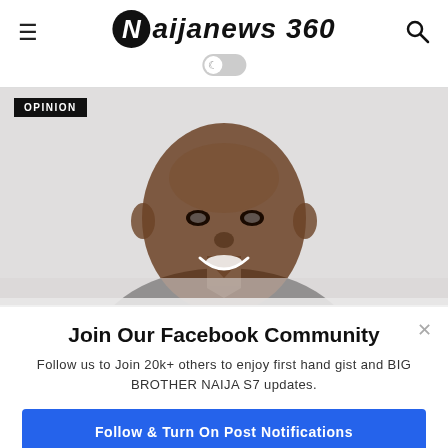Naijanews 360
[Figure (photo): Profile photo of a smiling man in a dark suit, with an OPINION badge overlay in top-left corner]
Join Our Facebook Community
Follow us to Join 20k+ others to enjoy first hand gist and BIG BROTHER NAIJA S7 updates.
Follow & Turn On Post Notifications